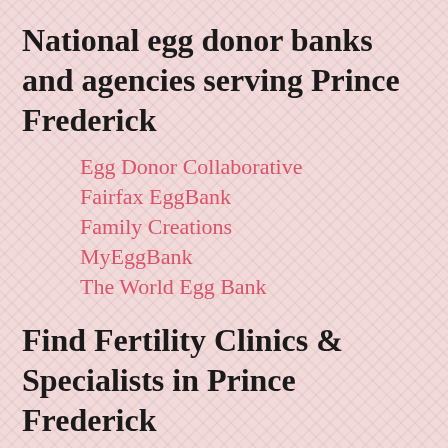National egg donor banks and agencies serving Prince Frederick
Egg Donor Collaborative
Fairfax EggBank
Family Creations
MyEggBank
The World Egg Bank
Find Fertility Clinics & Specialists in Prince Frederick
There is a list of local Prince Frederick fertility clinics & Specialists that may provide egg donation program or donated embryo program with their live birth success rates. They are able to work with egg donor agencies and assist you in finding donor egg resources. The egg donor banks can coordinate with almost